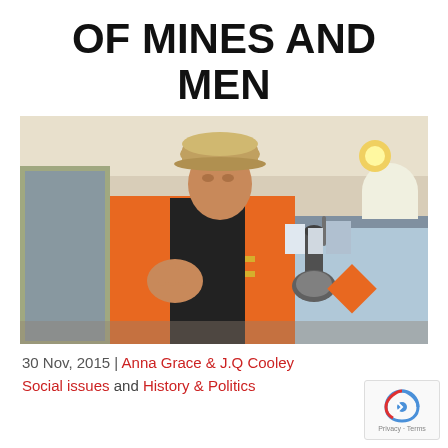OF MINES AND MEN
[Figure (photo): A man wearing an orange safety vest and a hard hat holding a vintage mining lamp, standing indoors in what appears to be a shop or museum setting.]
30 Nov, 2015 | Anna Grace & J.Q Cooley
Social issues and History & Politics